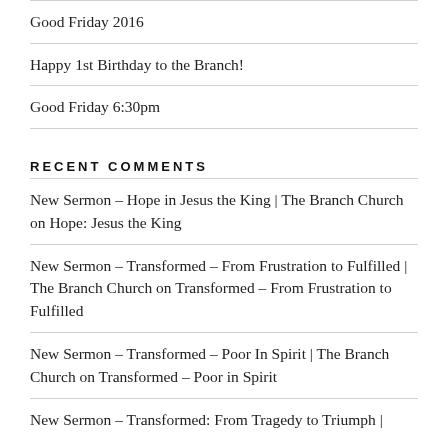Good Friday 2016
Happy 1st Birthday to the Branch!
Good Friday 6:30pm
RECENT COMMENTS
New Sermon – Hope in Jesus the King | The Branch Church on Hope: Jesus the King
New Sermon – Transformed – From Frustration to Fulfilled | The Branch Church on Transformed – From Frustration to Fulfilled
New Sermon – Transformed – Poor In Spirit | The Branch Church on Transformed – Poor in Spirit
New Sermon – Transformed: From Tragedy to Triumph |